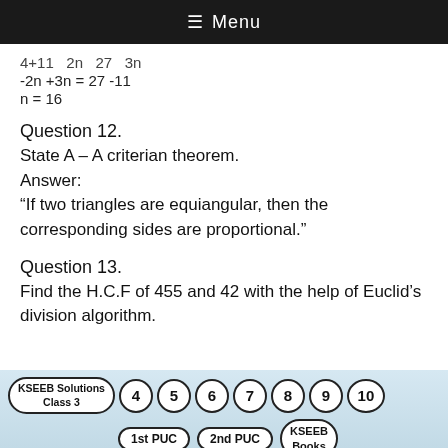≡ Menu
Question 12.
State A – A criterian theorem.
Answer:
"If two triangles are equiangular, then the corresponding sides are proportional."
Question 13.
Find the H.C.F of 455 and 42 with the help of Euclid's division algorithm.
KSEEB Solutions Class 3  4  5  6  7  8  9  10  1st PUC  2nd PUC  KSEEB Books